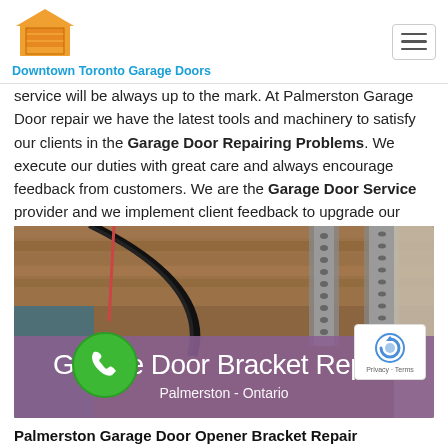Downtown Toronto Garage Doors
service will be always up to the mark. At Palmerston Garage Door repair we have the latest tools and machinery to satisfy our clients in the Garage Door Repairing Problems. We execute our duties with great care and always encourage feedback from customers. We are the Garage Door Service provider and we implement client feedback to upgrade our present services.
[Figure (photo): Photo of garage door bracket hardware — metal tracks and door mechanism visible on ceiling, with a purple/mauve overlay at the bottom containing white text: 'Garage Door Bracket Repair' and 'Palmerston - Ontario'. A green phone/call button circle is visible at the lower left.]
Palmerston Garage Door Opener Bracket Repair